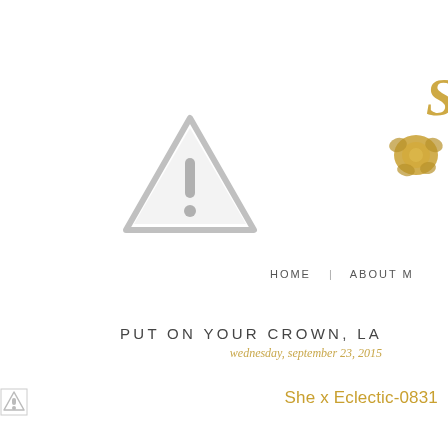[Figure (logo): Partially visible decorative gold script logo with rose illustration in top right corner]
[Figure (illustration): Gray warning triangle icon with exclamation mark — broken image placeholder]
HOME | ABOUT M
PUT ON YOUR CROWN, LA
wednesday, september 23, 2015
[Figure (illustration): Small broken image placeholder thumbnail at bottom left]
She x Eclectic-0831